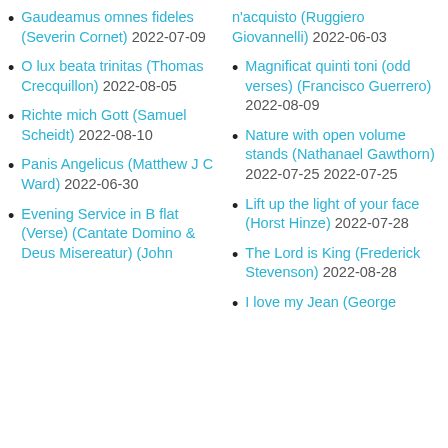Gaudeamus omnes fideles (Severin Cornet) 2022-07-09
O lux beata trinitas (Thomas Crecquillon) 2022-08-05
Richte mich Gott (Samuel Scheidt) 2022-08-10
Panis Angelicus (Matthew J C Ward) 2022-06-30
Evening Service in B flat (Verse) (Cantate Domino & Deus Misereatur) (John …) 2022-07-31
n'acquisto (Ruggiero Giovannelli) 2022-06-03
Magnificat quinti toni (odd verses) (Francisco Guerrero) 2022-08-09
Nature with open volume stands (Nathanael Gawthorn) 2022-07-25 2022-07-25
Lift up the light of your face (Horst Hinze) 2022-07-28
The Lord is King (Frederick Stevenson) 2022-08-28
I love my Jean (George …